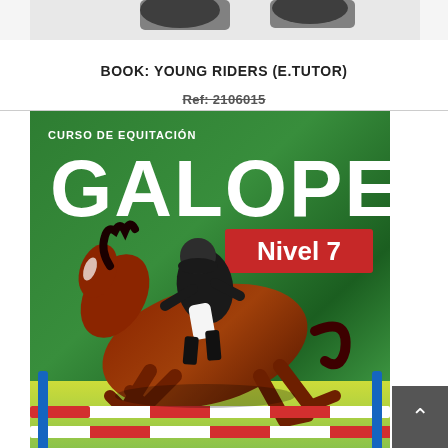[Figure (photo): Top strip showing partial view of horses and riders jumping, cropped at the top of the page]
BOOK: YOUNG RIDERS (E.TUTOR)
Ref: 2106015
[Figure (photo): Book cover for 'Galope Nivel 7' - Curso de Equitacion. Green background with large white text GALOPE, red banner with white text Nivel 7, and an image of a rider on a brown horse jumping over a red and white fence bar.]